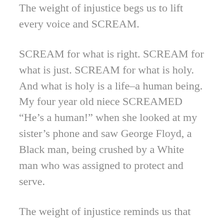The weight of injustice begs us to lift every voice and SCREAM.
SCREAM for what is right. SCREAM for what is just. SCREAM for what is holy. And what is holy is a life–a human being. My four year old niece SCREAMED “He’s a human!” when she looked at my sister’s phone and saw George Floyd, a Black man, being crushed by a White man who was assigned to protect and serve.
The weight of injustice reminds us that these passionate moves leave permanent marks. And the mark that was made against George Floyd and most recently in Nebraska, James Scurlock, is a mark that will never fade.
So where do we go from here? Well, we must lose the weight. We must drop it. We must repent. We must